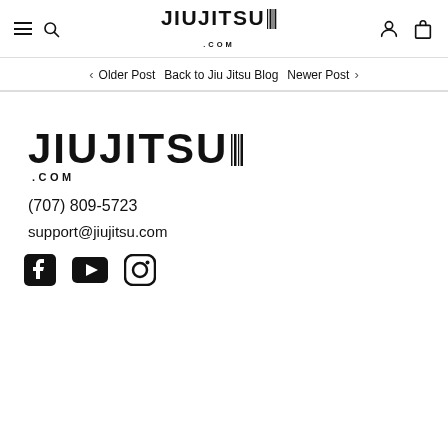JIUJITSU .COM
< Older Post Back to Jiu Jitsu Blog Newer Post >
[Figure (logo): JIUJITSU.COM logo in large bold black font with barcode-style lines on the right side of the word]
(707) 809-5723
support@jiujitsu.com
[Figure (other): Social media icons: Facebook, YouTube, Instagram]